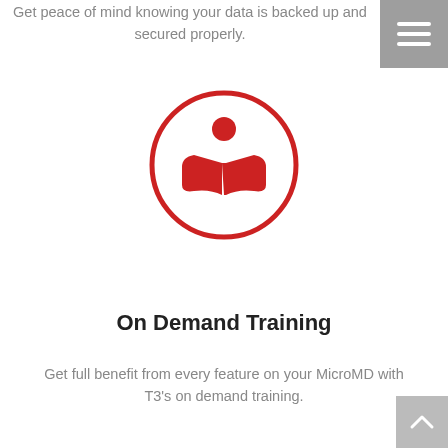Get peace of mind knowing your data is backed up and secured properly.
[Figure (illustration): Red circle outline with a person reading an open book icon inside, in red.]
On Demand Training
Get full benefit from every feature on your MicroMD with T3’s on demand training.